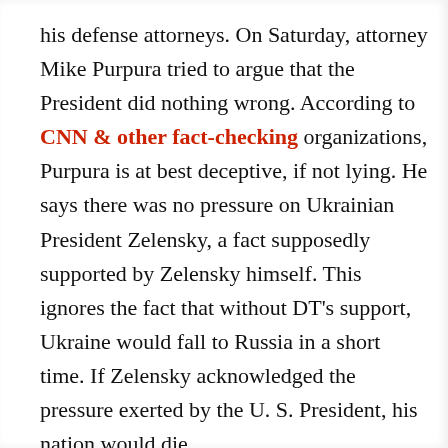his defense attorneys. On Saturday, attorney Mike Purpura tried to argue that the President did nothing wrong. According to CNN & other fact-checking organizations, Purpura is at best deceptive, if not lying. He says there was no pressure on Ukrainian President Zelensky, a fact supposedly supported by Zelensky himself. This ignores the fact that without DT's support, Ukraine would fall to Russia in a short time. If Zelensky acknowledged the pressure exerted by the U. S. President, his nation would die.
Purpura said Ukraine did not know the aid was even